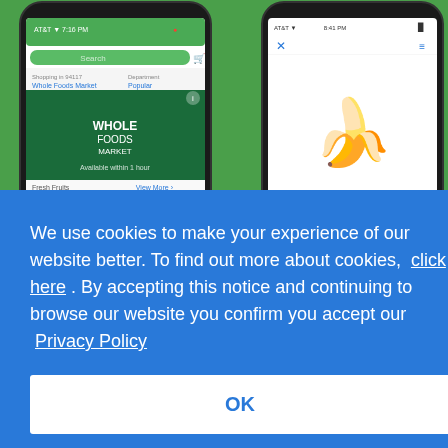[Figure (screenshot): Two smartphone screens on a green background. Left phone shows Amazon/Whole Foods app with fresh fruits section. Right phone shows Organic Banana product page.]
We use cookies to make your experience of our website better. To find out more about cookies, click here . By accepting this notice and continuing to browse our website you confirm you accept our Privacy Policy
OK
spers of ry
when placing my order. Pinch texts me with the bad news at